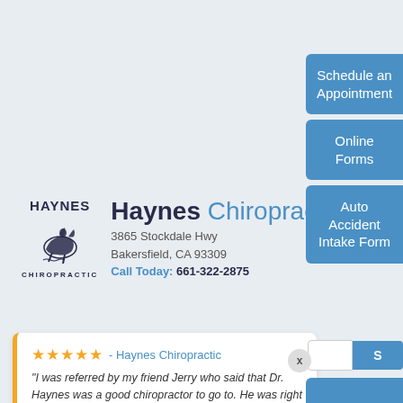Schedule an Appointment
Online Forms
Auto Accident Intake Form
[Figure (logo): Haynes Chiropractic logo with horse rider illustration and HAYNES CHIROPRACTIC text]
Haynes Chiropractic
3865 Stockdale Hwy
Bakersfield, CA 93309
Call Today: 661-322-2875
★★★★★ - Haynes Chiropractic
“I was referred by my friend Jerry who said that Dr. Haynes was a good chiropractor to go to. He was right and I have been going there ever since! He does good adjustments, time scheduling , and the ...”
— John Boy, in the last 2 weeks
⚡ by Review Wave